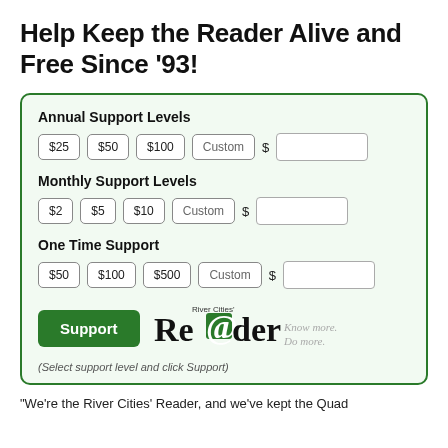Help Keep the Reader Alive and Free Since '93!
Annual Support Levels
$25  $50  $100  Custom  $  [input]
Monthly Support Levels
$2  $5  $10  Custom  $  [input]
One Time Support
$50  $100  $500  Custom  $  [input]
Support
[Figure (logo): River Cities' Reader logo with tagline 'Know more. Do more.']
(Select support level and click Support)
"We're the River Cities' Reader, and we've kept the Quad